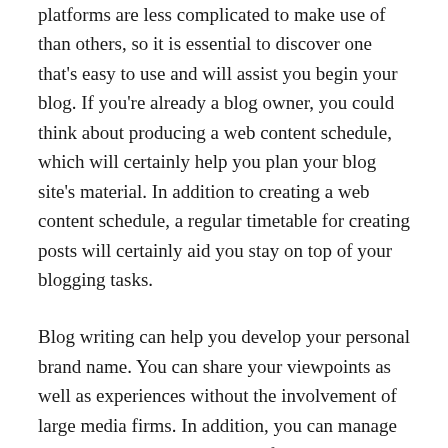platforms are less complicated to make use of than others, so it is essential to discover one that's easy to use and will assist you begin your blog. If you're already a blog owner, you could think about producing a web content schedule, which will certainly help you plan your blog site's material. In addition to creating a web content schedule, a regular timetable for creating posts will certainly aid you stay on top of your blogging tasks.
Blog writing can help you develop your personal brand name. You can share your viewpoints as well as experiences without the involvement of large media firms. In addition, you can manage the language as well as style of your messages. It can assist you develop an individual brand, verify your skills, and attract attention from the group. So, why not begin today? The possibilities are limitless. There are plenty of reasons to begin blogging, and also there's an application for practically every subject conceivable.